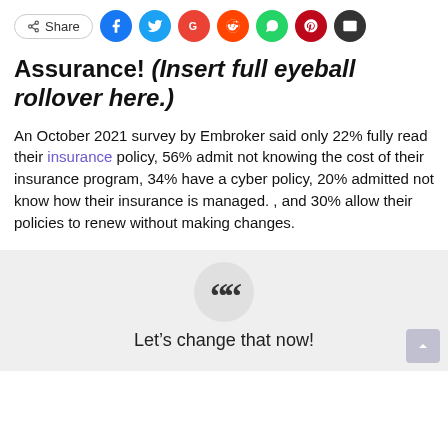Share bar with social icons: Share, Facebook, Twitter, Google, Reddit, WhatsApp, Pinterest, Email
Assurance! (Insert full eyeball rollover here.)
An October 2021 survey by Embroker said only 22% fully read their insurance policy, 56% admit not knowing the cost of their insurance program, 34% have a cyber policy, 20% admitted not know how their insurance is managed. , and 30% allow their policies to renew without making changes.
Let's change that now!